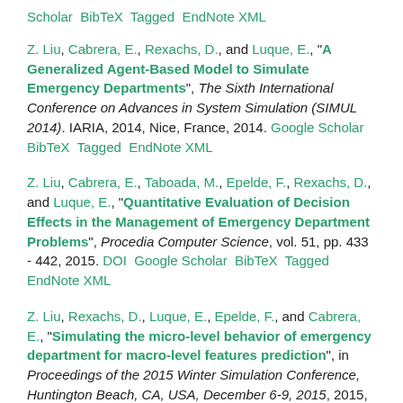Scholar  BibTeX  Tagged  EndNote XML
Z. Liu, Cabrera, E., Rexachs, D., and Luque, E., "A Generalized Agent-Based Model to Simulate Emergency Departments", The Sixth International Conference on Advances in System Simulation (SIMUL 2014). IARIA, 2014, Nice, France, 2014. Google Scholar  BibTeX  Tagged  EndNote XML
Z. Liu, Cabrera, E., Taboada, M., Epelde, F., Rexachs, D., and Luque, E., "Quantitative Evaluation of Decision Effects in the Management of Emergency Department Problems", Procedia Computer Science, vol. 51, pp. 433 - 442, 2015. DOI  Google Scholar  BibTeX  Tagged  EndNote XML
Z. Liu, Rexachs, D., Luque, E., Epelde, F., and Cabrera, E., "Simulating the micro-level behavior of emergency department for macro-level features prediction", in Proceedings of the 2015 Winter Simulation Conference, Huntington Beach, CA, USA, December 6-9, 2015, 2015, pp. 171–182. DOI  Google Scholar  BibTeX  Tagged